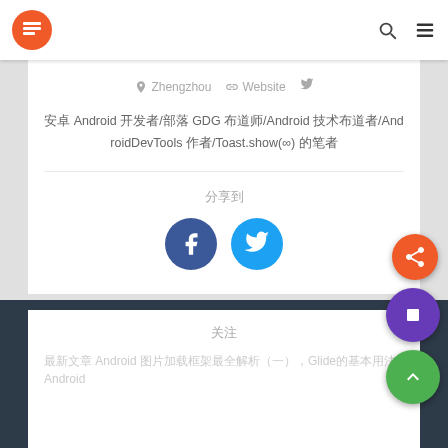News app header with logo, search and menu icons
Zhengzhou  Website  Twitter
安卓 Android 开发者/部落 GDG 布道师/Android 技术布道者/AndroidDevTools 作者/Toast.show(∞) 的笔者
分享到
[Figure (logo): Facebook share button circle icon (blue)]
[Figure (logo): Twitter share button circle icon (light blue)]
关注
最新文章 Android 相关内容 Android